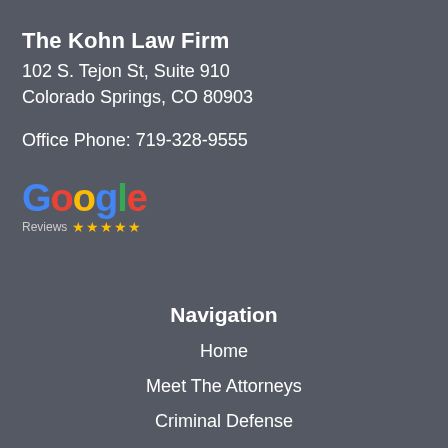The Kohn Law Firm
102 S. Tejon St, Suite 910
Colorado Springs, CO 80903
Office Phone: 719-328-9555
[Figure (logo): Google Reviews logo with five gold stars]
Navigation
Home
Meet The Attorneys
Criminal Defense
Disclaimer